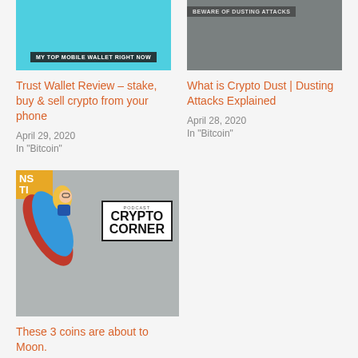[Figure (screenshot): Trust Wallet thumbnail with teal background and label 'MY TOP MOBILE WALLET RIGHT NOW']
Trust Wallet Review – stake, buy & sell crypto from your phone
April 29, 2020
In "Bitcoin"
[Figure (screenshot): Dark grey textured background with text 'BEWARE OF DUSTING ATTACKS']
What is Crypto Dust | Dusting Attacks Explained
April 28, 2020
In "Bitcoin"
[Figure (screenshot): Crypto Corner Podcast thumbnail showing cartoon man with rocket and sign reading PODCAST CRYPTO CORNER]
These 3 coins are about to Moon.
February 15, 2020
In "News"